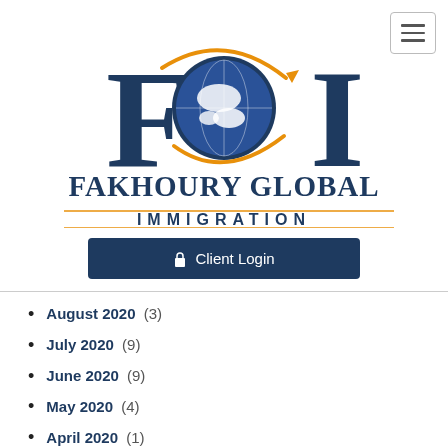[Figure (logo): Fakhoury Global Immigration logo with FGI globe icon and text]
Client Login
August 2020 (3)
July 2020 (9)
June 2020 (9)
May 2020 (4)
April 2020 (1)
March 2020 (9)
December 2019 (9)